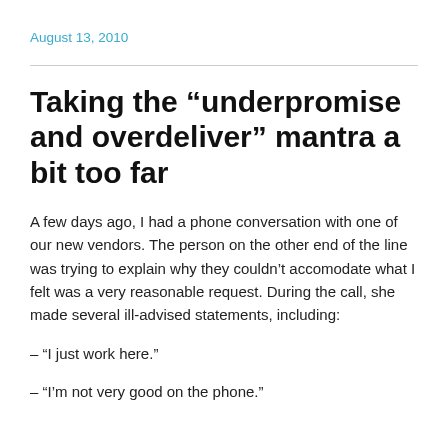August 13, 2010
Taking the “underpromise and overdeliver” mantra a bit too far
A few days ago, I had a phone conversation with one of our new vendors. The person on the other end of the line was trying to explain why they couldn’t accomodate what I felt was a very reasonable request. During the call, she made several ill-advised statements, including:
– “I just work here.”
– “I’m not very good on the phone.”